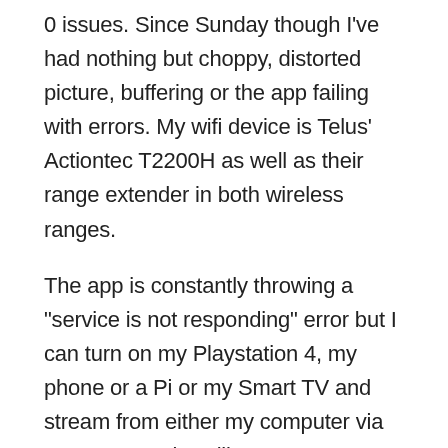0 issues.  Since Sunday though I've had nothing but choppy, distorted picture, buffering or the app failing with errors.  My wifi device is Telus' Actiontec T2200H as well as their range extender in both wireless ranges.
The app is constantly throwing a "service is not responding" error but I can turn on my Playstation 4, my phone or a Pi or my Smart TV and stream from either my computer via DLNA or services like Netflix/Twitch/YouTube but don't have the same quality issues or connection problems.  App also buffers a lot and quality drops are frequent.  The Pik TV